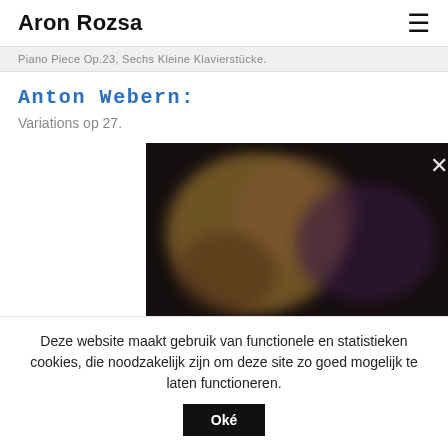Aron Rozsa
Piano Piece Op.23, Sechs Kleine Klavierstücke.
Anton Webern:
Variations op 27.
[Figure (photo): Blurred/obscured photograph with dark tones, orange and purple hues, with a close (×) button in the top right corner.]
Deze website maakt gebruik van functionele en statistieken cookies, die noodzakelijk zijn om deze site zo goed mogelijk te laten functioneren.